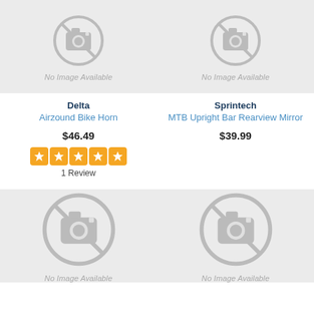[Figure (photo): No image available placeholder with camera icon - Delta Airzound Bike Horn]
No Image Available
Delta
Airzound Bike Horn
$46.49
[Figure (other): 5-star rating icons in orange]
1 Review
[Figure (photo): No image available placeholder with camera icon - Sprintech MTB Upright Bar Rearview Mirror]
No Image Available
Sprintech
MTB Upright Bar Rearview Mirror
$39.99
[Figure (photo): No image available placeholder with camera icon - bottom left product]
No Image Available
[Figure (photo): No image available placeholder with camera icon - bottom right product]
No Image Available